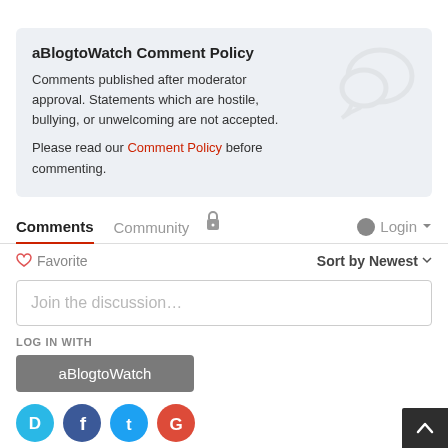aBlogtoWatch Comment Policy
Comments published after moderator approval. Statements which are hostile, bullying, or unwelcoming are not accepted.
Please read our Comment Policy before commenting.
Comments   Community   🔒   Login
♡ Favorite   Sort by Newest
Join the discussion…
LOG IN WITH
aBlogtoWatch
[Figure (other): Social login icons: Disqus (blue), Facebook (dark blue), Twitter (light blue), Google (red)]